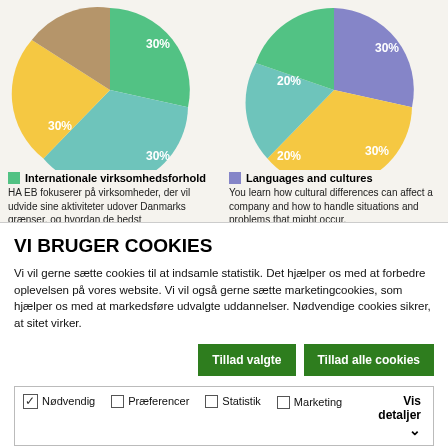[Figure (pie-chart): Internationale virksomhedsforhold]
[Figure (pie-chart): Languages and cultures]
Internationale virksomhedsforhold
HA EB fokuserer på virksomheder, der vil udvide sine aktiviteter udover Danmarks grænser, og hvordan de bedst
Languages and cultures
You learn how cultural differences can affect a company and how to handle situations and problems that might occur.
VI BRUGER COOKIES
Vi vil gerne sætte cookies til at indsamle statistik. Det hjælper os med at forbedre oplevelsen på vores website. Vi vil også gerne sætte marketingcookies, som hjælper os med at markedsføre udvalgte uddannelser. Nødvendige cookies sikrer, at sitet virker.
Tillad valgte
Tillad alle cookies
Nødvendig  Præferencer  Statistik  Marketing  Vis detaljer